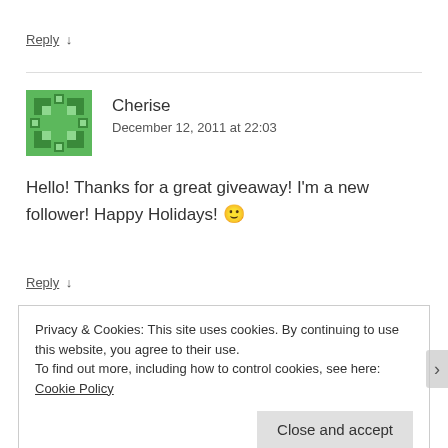Reply ↓
Cherise
December 12, 2011 at 22:03
Hello! Thanks for a great giveaway! I'm a new follower! Happy Holidays! 🙂
Reply ↓
Privacy & Cookies: This site uses cookies. By continuing to use this website, you agree to their use.
To find out more, including how to control cookies, see here: Cookie Policy
Close and accept